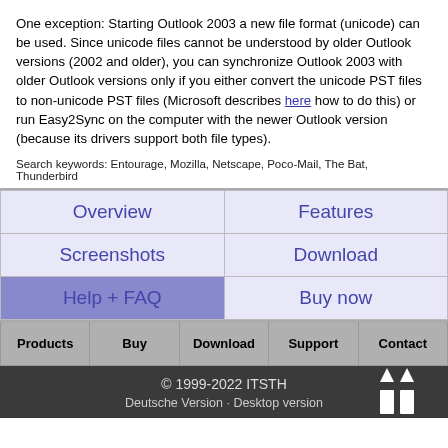One exception: Starting Outlook 2003 a new file format (unicode) can be used. Since unicode files cannot be understood by older Outlook versions (2002 and older), you can synchronize Outlook 2003 with older Outlook versions only if you either convert the unicode PST files to non-unicode PST files (Microsoft describes here how to do this) or run Easy2Sync on the computer with the newer Outlook version (because its drivers support both file types).
Search keywords: Entourage, Mozilla, Netscape, Poco-Mail, The Bat, Thunderbird
| Overview | Features | Screenshots | Download | Help + FAQ | Buy now |
| --- | --- | --- | --- | --- | --- |
| Products | Buy | Download | Support | Contact |
| --- | --- | --- | --- | --- |
© 1999-2022 ITSTH
Deutsche Version · Desktop version